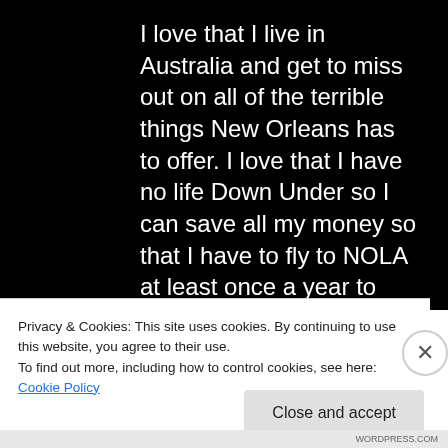I love that I live in Australia and get to miss out on all of the terrible things New Orleans has to offer. I love that I have no life Down Under so I can save all my money so that I have to fly to NOLA at least once a year to suffer through all of those terrible things...and I really hate that I won't be one of those Halloween freaks because I'll be wearing a
Privacy & Cookies: This site uses cookies. By continuing to use this website, you agree to their use.
To find out more, including how to control cookies, see here: Cookie Policy
Close and accept